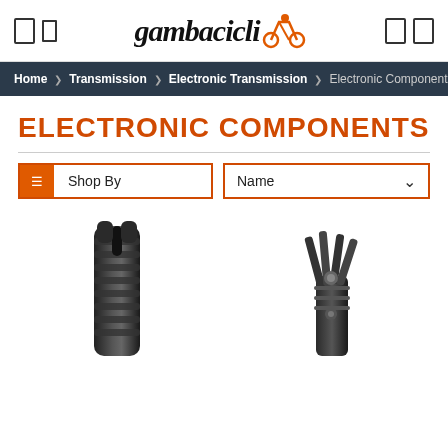gambacicli logo header with navigation icons
Home > Transmission > Electronic Transmission > Electronic Components
ELECTRONIC COMPONENTS
Shop By | Name (sort dropdown)
[Figure (photo): Black ribbed cable housing or connector component]
[Figure (photo): Black multi-tool folding bicycle tool]